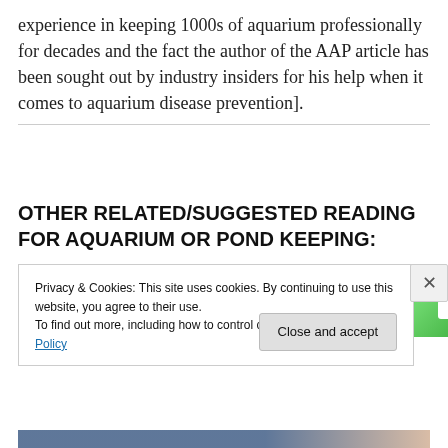experience in keeping 1000s of aquarium professionally for decades and the fact the author of the AAP article has been sought out by industry insiders for his help when it comes to aquarium disease prevention].
[Figure (screenshot): Green advertisement banner with circle logo icon and white button, labeled 'Advertisements' above it]
OTHER RELATED/SUGGESTED READING FOR AQUARIUM OR POND KEEPING:
Privacy & Cookies: This site uses cookies. By continuing to use this website, you agree to their use.
To find out more, including how to control cookies, see here: Cookie Policy
[Close and accept button]